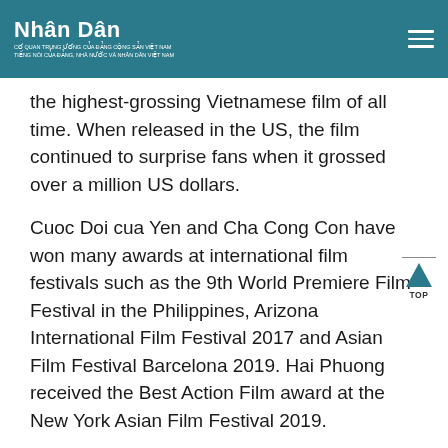Nhân Dân
the highest-grossing Vietnamese film of all time. When released in the US, the film continued to surprise fans when it grossed over a million US dollars.
Cuoc Doi cua Yen and Cha Cong Con have won many awards at international film festivals such as the 9th World Premiere Film Festival in the Philippines, Arizona International Film Festival 2017 and Asian Film Festival Barcelona 2019. Hai Phuong received the Best Action Film award at the New York Asian Film Festival 2019.
The other films to be screened during the event...